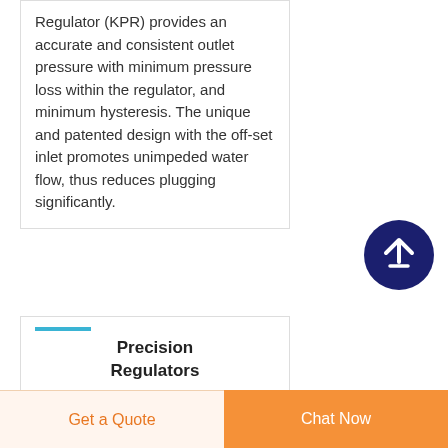Regulator (KPR) provides an accurate and consistent outlet pressure with minimum pressure loss within the regulator, and minimum hysteresis. The unique and patented design with the off-set inlet promotes unimpeded water flow, thus reduces plugging significantly.
[Figure (other): Dark blue circular scroll-to-top button with white upward arrow icon]
Precision Regulators
Pneumatic Precision Air Regulators
Precision regulators provide
Get a Quote   Chat Now